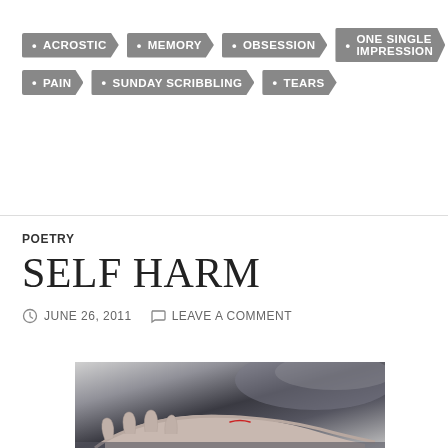ACROSTIC
MEMORY
OBSESSION
ONE SINGLE IMPRESSION
PAIN
SUNDAY SCRIBBLING
TEARS
POETRY
SELF HARM
JUNE 26, 2011   LEAVE A COMMENT
[Figure (photo): Close-up photograph of a person's wrist/hand resting on a surface, with a visible wound/cut, in desaturated tones]